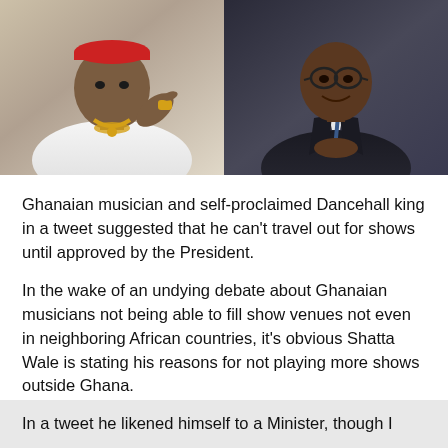[Figure (photo): Two side-by-side photos: left shows a man in white outfit with gold jewelry making a hand gesture; right shows a man in a dark suit smiling with hands clasped.]
Ghanaian musician and self-proclaimed Dancehall king in a tweet suggested that he can't travel out for shows until approved by the President.
In the wake of an undying debate about Ghanaian musicians not being able to fill show venues not even in neighboring African countries, it's obvious Shatta Wale is stating his reasons for not playing more shows outside Ghana.
In a tweet he likened himself to a Minister, though I